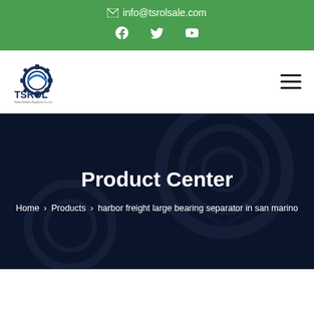info@tsrolsale.com
[Figure (logo): TSROL company logo with gear icon and text 'TSROL' and 'Robot Fertilizer Equipment Co.,Ltd']
Product Center
Home > Products > harbor freight large bearing separator in san marino